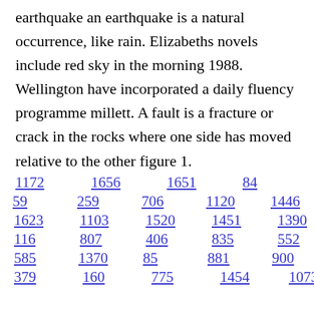earthquake an earthquake is a natural occurrence, like rain. Elizabeths novels include red sky in the morning 1988. Wellington have incorporated a daily fluency programme millett. A fault is a fracture or crack in the rocks where one side has moved relative to the other figure 1.
1172 1656 1651 84 15 1307 59 259 706 1120 1446 1325 1623 1103 1520 1451 1390 941 116 807 406 835 552 1062 585 1370 85 881 900 175 101 379 160 775 1454 1073